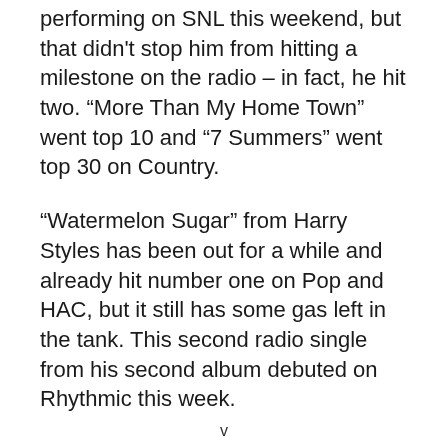performing on SNL this weekend, but that didn't stop him from hitting a milestone on the radio – in fact, he hit two. “More Than My Home Town” went top 10 and “7 Summers” went top 30 on Country.
“Watermelon Sugar” from Harry Styles has been out for a while and already hit number one on Pop and HAC, but it still has some gas left in the tank. This second radio single from his second album debuted on Rhythmic this week.
v